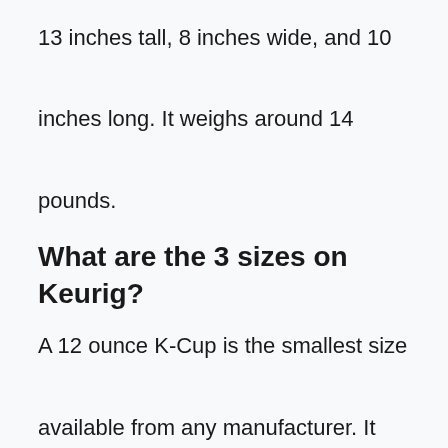13 inches tall, 8 inches wide, and 10 inches long. It weighs around 14 pounds.
What are the 3 sizes on Keurig?
A 12 ounce K-Cup is the smallest size available from any manufacturer. It holds about 1/3 cup of coffee.